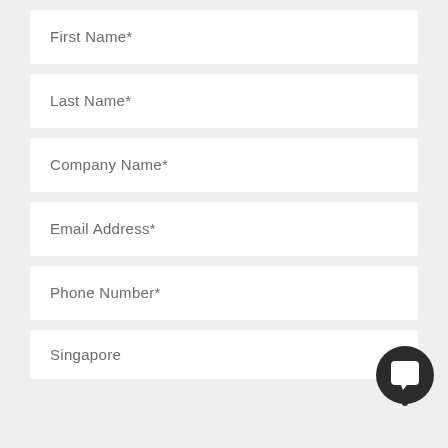First Name*
Last Name*
Company Name*
Email Address*
Phone Number*
[Figure (illustration): Dark circular chat/message button icon with speech bubble symbol]
Singapore